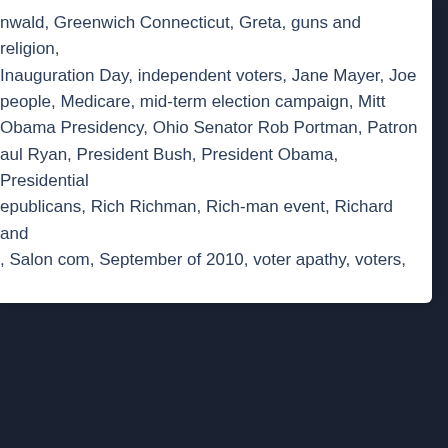nwald, Greenwich Connecticut, Greta, guns and religion, Inauguration Day, independent voters, Jane Mayer, Joe people, Medicare, mid-term election campaign, Mitt Obama Presidency, Ohio Senator Rob Portman, Patron aul Ryan, President Bush, President Obama, Presidential epublicans, Rich Richman, Rich-man event, Richard and , Salon com, September of 2010, voter apathy, voters,